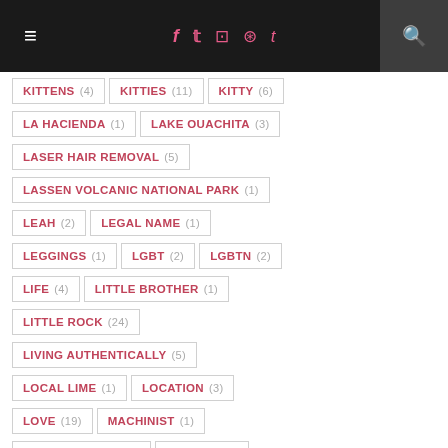Navigation header with social icons and search
KITTENS (4)
KITTIES (11)
KITTY (6)
LA HACIENDA (1)
LAKE OUACHITA (3)
LASER HAIR REMOVAL (5)
LASSEN VOLCANIC NATIONAL PARK (1)
LEAH (2)
LEGAL NAME (1)
LEGGINGS (1)
LGBT (2)
LGBTN (2)
LIFE (4)
LITTLE BROTHER (1)
LITTLE ROCK (24)
LIVING AUTHENTICALLY (5)
LOCAL LIME (1)
LOCATION (3)
LOVE (19)
MACHINIST (1)
MAGIC SPRINGS (3)
MAKEUP (5)